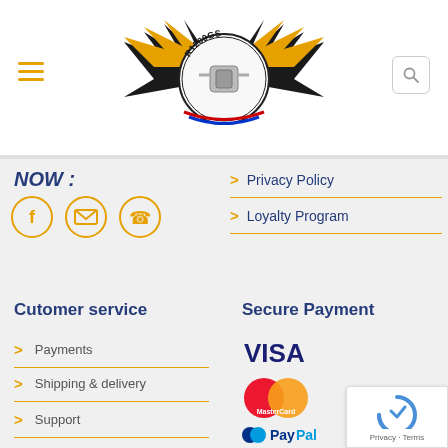[Figure (logo): R1200GS motorcycle club logo with wings and circular badge]
[Figure (illustration): Hamburger menu icon (three orange lines)]
[Figure (illustration): Search icon button (magnifying glass)]
NOW :
[Figure (illustration): Social icons: Facebook, Email, Phone in orange circles]
> Privacy Policy
> Loyalty Program
Cutomer service
> Payments
> Shipping & delivery
> Support
Secure Payment
[Figure (illustration): VISA payment logo]
[Figure (illustration): MasterCard payment logo]
[Figure (illustration): PayPal payment logo]
[Figure (illustration): reCAPTCHA badge with Privacy and Terms text]